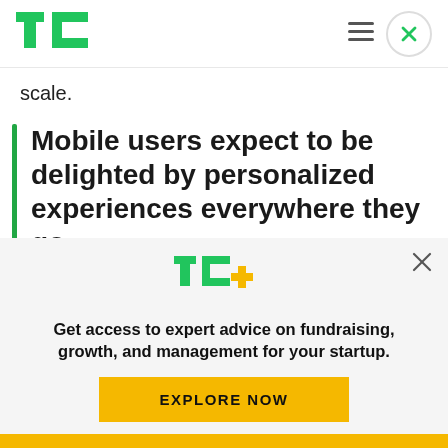TechCrunch navigation bar with TC logo, hamburger menu, and close button
scale.
Mobile users expect to be delighted by personalized experiences everywhere they go.
The insight is that the...
[Figure (logo): TechCrunch TC+ logo with green TC letters and yellow plus sign]
Get access to expert advice on fundraising, growth, and management for your startup.
EXPLORE NOW